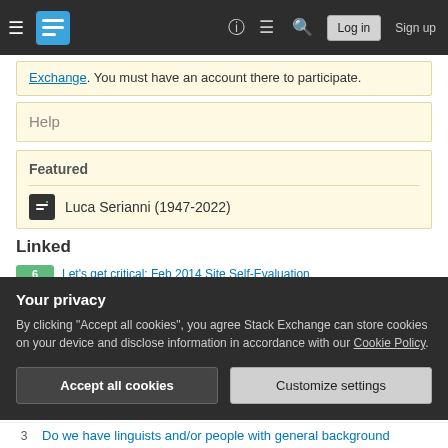Stack Exchange navigation bar with Log in and Sign up buttons
Exchange. You must have an account there to participate.
Help
Featured
Luca Serianni (1947-2022)
Linked
Let's get critical: Feb 2014 Site Self-Evaluation
Your privacy
By clicking "Accept all cookies", you agree Stack Exchange can store cookies on your device and disclose information in accordance with our Cookie Policy.
Accept all cookies
Customize settings
3  Do we have linguists and/or people with general background